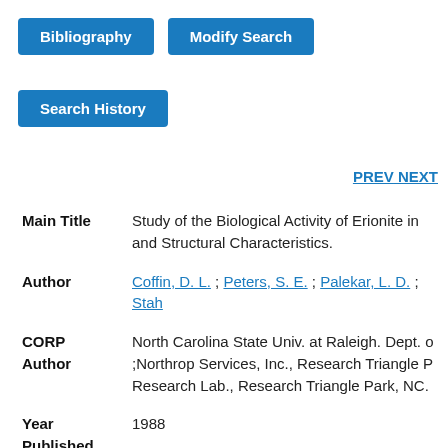[Figure (screenshot): Blue button labeled 'Bibliography']
[Figure (screenshot): Blue button labeled 'Modify Search']
[Figure (screenshot): Blue button labeled 'Search History']
PREV NEXT
| Main Title | Study of the Biological Activity of Erionite in and Structural Characteristics. |
| Author | Coffin, D. L. ; Peters, S. E. ; Palekar, L. D. ; Stah |
| CORP Author | North Carolina State Univ. at Raleigh. Dept. o ;Northrop Services, Inc., Research Triangle P Research Lab., Research Triangle Park, NC. |
| Year Published | 1988 |